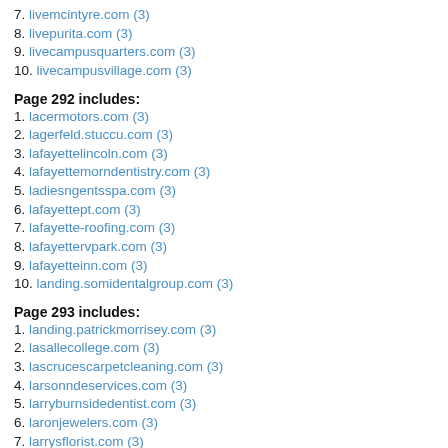7. livemcintyre.com (3)
8. livepurita.com (3)
9. livecampusquarters.com (3)
10. livecampusvillage.com (3)
Page 292 includes:
1. lacermotors.com (3)
2. lagerfeld.stuccu.com (3)
3. lafayettelincoln.com (3)
4. lafayettemorndentistry.com (3)
5. ladiesngentsspa.com (3)
6. lafayettept.com (3)
7. lafayette-roofing.com (3)
8. lafayettervpark.com (3)
9. lafayetteinn.com (3)
10. landing.somidentalgroup.com (3)
Page 293 includes:
1. landing.patrickmorrisey.com (3)
2. lasallecollege.com (3)
3. lascrucescarpetcleaning.com (3)
4. larsonndeservices.com (3)
5. larryburnsidedentist.com (3)
6. laronjewelers.com (3)
7. larrysflorist.com (3)
8. lasercenteroflouisville.com (3)
9. laserfox.com (3)
10. lasermaxx.com (3)
Page 294 includes:
1. lazytime.io (3)
2. lcondos.com.mx (3)
3. leaderbox.com (3)
4. leadingedgeautobody.com (3)
5. layoutsbysteve.com (3)